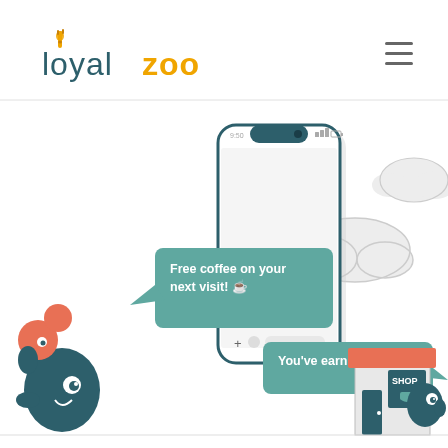[Figure (illustration): Loyalzoo website screenshot showing the logo in the top left, a hamburger menu icon in the top right, and a central illustration of a smartphone with two teal notification bubbles reading 'Free coffee on your next visit! ☕' and 'You've earned 50 points!'. On the left is a teal cartoon monster character. On the right is a cloud, a shop storefront, and another small teal monster character.]